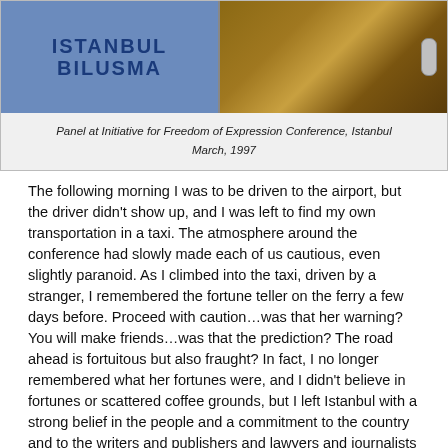[Figure (photo): Two photos side by side: left shows a shirt with 'Istanbul Bilusma' text, right shows a wooden door with a handle. Panel at Initiative for Freedom of Expression Conference, Istanbul.]
Panel at Initiative for Freedom of Expression Conference, Istanbul March, 1997
The following morning I was to be driven to the airport, but the driver didn't show up, and I was left to find my own transportation in a taxi. The atmosphere around the conference had slowly made each of us cautious, even slightly paranoid. As I climbed into the taxi, driven by a stranger, I remembered the fortune teller on the ferry a few days before. Proceed with caution…was that her warning? You will make friends…was that the prediction? The road ahead is fortuitous but also fraught? In fact, I no longer remembered what her fortunes were, and I didn't believe in fortunes or scattered coffee grounds, but I left Istanbul with a strong belief in the people and a commitment to the country and to the writers and publishers and lawyers and journalists and to the young people I had met and to the promise they represented.
In years following I returned to Turkey on numerous missions for PEN and for meetings with Human Rights Watch, with the International Crisis Group, on a trip with UNHCR looking at the